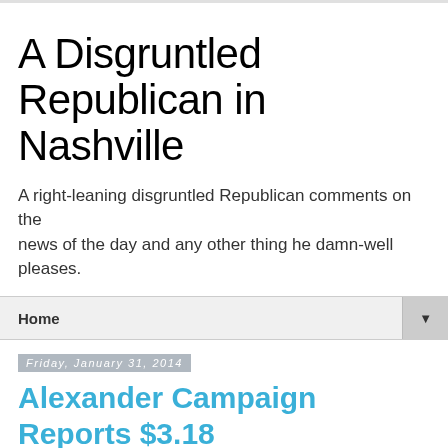A Disgruntled Republican in Nashville
A right-leaning disgruntled Republican comments on the news of the day and any other thing he damn-well pleases.
Home
Friday, January 31, 2014
Alexander Campaign Reports $3.18 Million Cash on Hand
Campaign Raises $4.66 Million in 2013